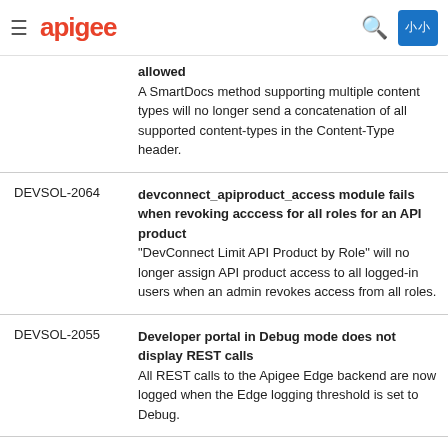apigee
| ID | Description |
| --- | --- |
|  | allowed
A SmartDocs method supporting multiple content types will no longer send a concatenation of all supported content-types in the Content-Type header. |
| DEVSOL-2064 | devconnect_apiproduct_access module fails when revoking acccess for all roles for an API product
"DevConnect Limit API Product by Role" will no longer assign API product access to all logged-in users when an admin revokes access from all roles. |
| DEVSOL-2055 | Developer portal in Debug mode does not display REST calls
All REST calls to the Apigee Edge backend are now logged when the Edge logging threshold is set to Debug. |
| DEVSOL-2053 | Rendering SmartDocs methods results in… |